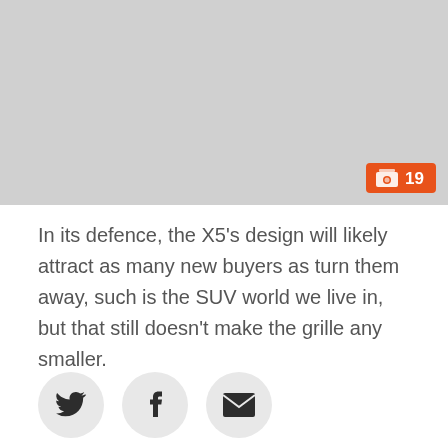[Figure (photo): Light grey placeholder image area with an orange badge showing a photo gallery icon and the number 19]
In its defence, the X5's design will likely attract as many new buyers as turn them away, such is the SUV world we live in, but that still doesn't make the grille any smaller.
[Figure (other): Three social sharing icon buttons (Twitter bird, Facebook f, and email envelope) in light grey circles]